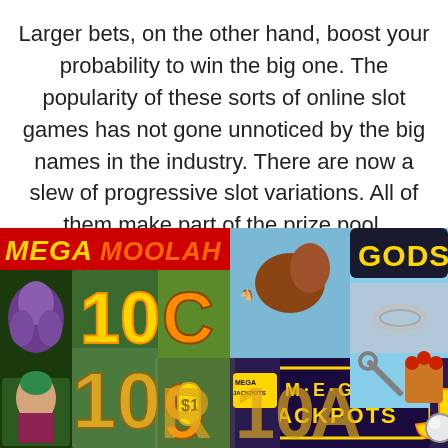Larger bets, on the other hand, boost your probability to win the big one. The popularity of these sorts of online slot games has not gone unnoticed by the big names in the industry. There are now a slew of progressive slot variations. All of them make part of the prize pool.
[Figure (photo): A collage of online slot machine game screenshots showing Mega Moolah, Gods, and Mega Jackpots slot games with colorful symbols including numbers 10, 9, J, playing card symbols, and game logos.]